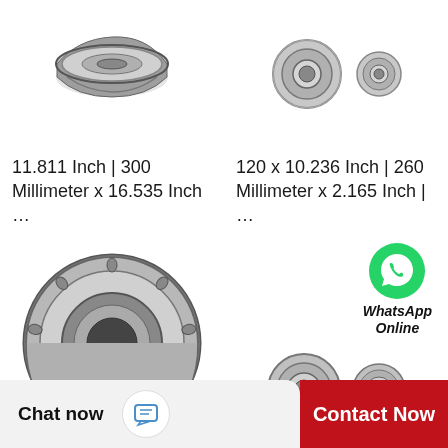[Figure (photo): Tapered roller bearing, single, silver/chrome, top-left product]
11.811 Inch | 300 Millimeter x 16.535 Inch …
[Figure (photo): Two ball bearings, silver/chrome, top-right product]
120 x 10.236 Inch | 260 Millimeter x 2.165 Inch | …
[Figure (photo): Large tapered roller bearing, bottom-left product]
[Figure (photo): Two ball/roller bearings with WhatsApp Online overlay, bottom-right product]
Chat now
Contact Now